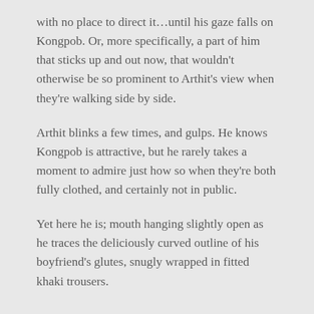with no place to direct it…until his gaze falls on Kongpob. Or, more specifically, a part of him that sticks up and out now, that wouldn't otherwise be so prominent to Arthit's view when they're walking side by side.
Arthit blinks a few times, and gulps. He knows Kongpob is attractive, but he rarely takes a moment to admire just how so when they're both fully clothed, and certainly not in public.
Yet here he is; mouth hanging slightly open as he traces the deliciously curved outline of his boyfriend's glutes, snugly wrapped in fitted khaki trousers.